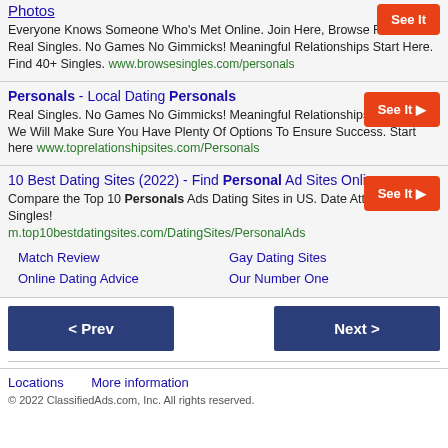Photos
Everyone Knows Someone Who's Met Online. Join Here, Browse For Free. Real Singles. No Games No Gimmicks! Meaningful Relationships Start Here. Find 40+ Singles. www.browsesingles.com/personals
Personals - Local Dating Personals
Real Singles. No Games No Gimmicks! Meaningful Relationships, Start Here. We Will Make Sure You Have Plenty Of Options To Ensure Success. Start here www.toprelationshipsites.com/Personals
10 Best Dating Sites (2022) - Find Personal Ad Sites Online
Compare the Top 10 Personals Ads Dating Sites in US. Date Attractive Singles!
m.top10bestdatingsites.com/DatingSites/PersonalAds
Match Review | Gay Dating Sites | Online Dating Advice | Our Number One
< Prev
Next >
Locations   More information
© 2022 ClassifiedAds.com, Inc. All rights reserved.